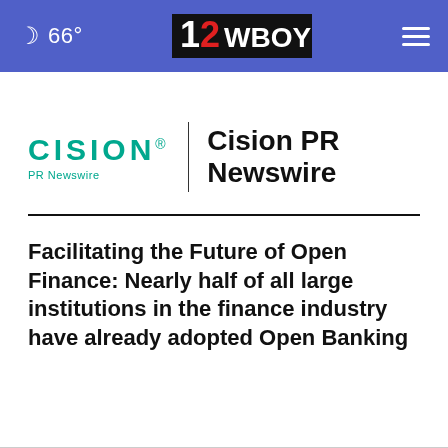66° | 12WBOY
[Figure (logo): Cision PR Newswire logo with teal CISION text and 'PR Newswire' subtitle, followed by vertical divider and bold 'Cision PR Newswire' text]
Facilitating the Future of Open Finance: Nearly half of all large institutions in the finance industry have already adopted Open Banking